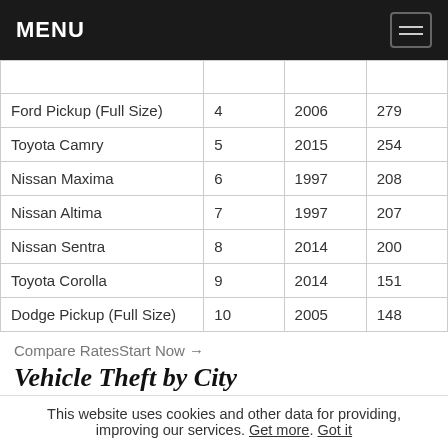MENU
| Vehicle | Rank | Year | Thefts |
| --- | --- | --- | --- |
| Ford Pickup (Full Size) | 4 | 2006 | 279 |
| Toyota Camry | 5 | 2015 | 254 |
| Nissan Maxima | 6 | 1997 | 208 |
| Nissan Altima | 7 | 1997 | 207 |
| Nissan Sentra | 8 | 2014 | 200 |
| Toyota Corolla | 9 | 2014 | 151 |
| Dodge Pickup (Full Size) | 10 | 2005 | 148 |
Compare RatesStart Now →
Vehicle Theft by City
This website uses cookies and other data for providing, improving our services. Get more. Got it